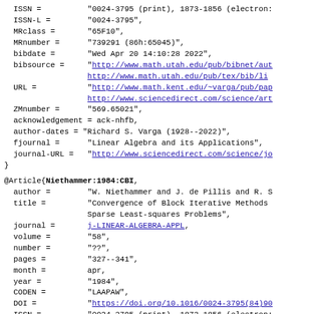ISSN =          "0024-3795 (print), 1873-1856 (electron:
  ISSN-L =         "0024-3795",
  MRclass =        "65F10",
  MRnumber =       "739291 (86h:65045)",
  bibdate =        "Wed Apr 20 14:10:28 2022",
  bibsource =      "http://www.math.utah.edu/pub/bibnet/aut
                   http://www.math.utah.edu/pub/tex/bib/li
  URL =            "http://www.math.kent.edu/~varga/pub/pap
                   http://www.sciencedirect.com/science/art
  ZMnumber =       "569.65021",
  acknowledgement = ack-nhfb,
  author-dates = "Richard S. Varga (1928--2022)",
  fjournal =       "Linear Algebra and its Applications",
  journal-URL =    "http://www.sciencedirect.com/science/jo
}
@Article{Niethammer:1984:CBI,
  author =         "W. Niethammer and J. de Pillis and R. S
  title =          "Convergence of Block Iterative Methods
                   Sparse Least-squares Problems",
  journal =        j-LINEAR-ALGEBRA-APPL,
  volume =         "58",
  number =         "??",
  pages =          "327--341",
  month =          apr,
  year =           "1984",
  CODEN =          "LAAPAW",
  DOI =            "https://doi.org/10.1016/0024-3795(84)90
  ISSN =           "0024-3795 (print), 1873-1856 (electron:
  ISSN-L =         "0024-3795",